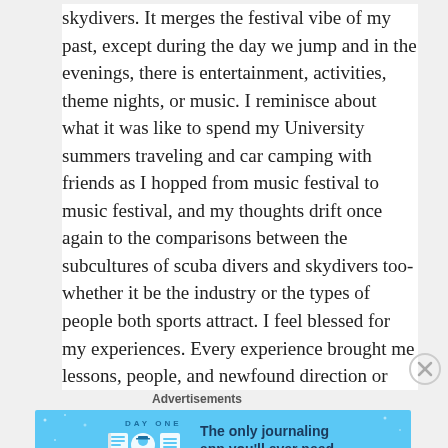skydivers. It merges the festival vibe of my past, except during the day we jump and in the evenings, there is entertainment, activities, theme nights, or music. I reminisce about what it was like to spend my University summers traveling and car camping with friends as I hopped from music festival to music festival, and my thoughts drift once again to the comparisons between the subcultures of scuba divers and skydivers too- whether it be the industry or the types of people both sports attract. I feel blessed for my experiences. Every experience brought me lessons, people, and newfound direction or inspiration. I feel positively lit up with the courage that I continuously find to push myself into new places that make this journey everything it has been. It dawns on me that a few years ago, I wouldn't have been able to attend a skydiving “boogie”
Advertisements
[Figure (other): Advertisement banner for DAY ONE journaling app featuring blue background, app icons, and text 'The only journaling app you'll ever need.']